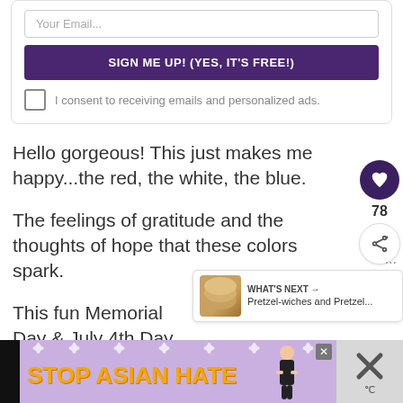Your Email...
SIGN ME UP! (YES, IT'S FREE!)
I consent to receiving emails and personalized ads.
Hello gorgeous! This just makes me happy...the red, the white, the blue.
The feelings of gratitude and the thoughts of hope that these colors spark.
This fun Memorial Day & July 4th Day s... be a hit at your party, BBQ or with the...
78
WHAT'S NEXT → Pretzel-wiches and Pretzel...
[Figure (infographic): STOP ASIAN HATE advertisement banner with purple floral background, orange bold text, and an illustrated woman figure.]